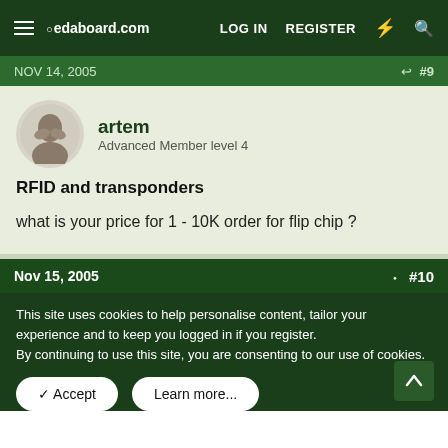oedaboard.com — LOG IN   REGISTER
NOV 14, 2005   #9
artem
Advanced Member level 4
RFID and transponders
what is your price for 1 - 10K order for flip chip ?
Nov 15, 2005   #10
This site uses cookies to help personalise content, tailor your experience and to keep you logged in if you register.
By continuing to use this site, you are consenting to our use of cookies.